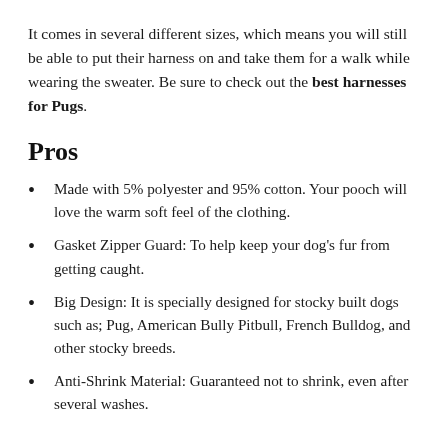It comes in several different sizes, which means you will still be able to put their harness on and take them for a walk while wearing the sweater. Be sure to check out the best harnesses for Pugs.
Pros
Made with 5% polyester and 95% cotton. Your pooch will love the warm soft feel of the clothing.
Gasket Zipper Guard: To help keep your dog's fur from getting caught.
Big Design: It is specially designed for stocky built dogs such as; Pug, American Bully Pitbull, French Bulldog, and other stocky breeds.
Anti-Shrink Material: Guaranteed not to shrink, even after several washes.